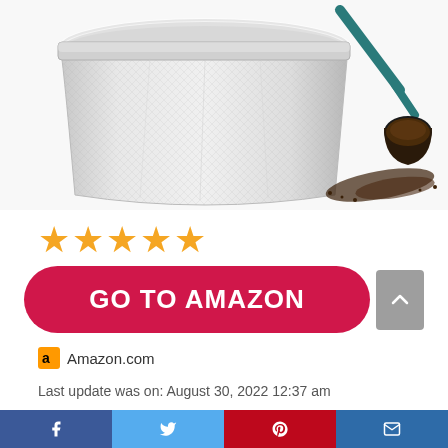[Figure (photo): Stainless steel mesh coffee filter basket with a dark teal coffee scoop holding ground coffee, some grounds spilled on white background]
[Figure (other): Five gold/orange star rating icons]
[Figure (other): Red rounded rectangle button with white bold text reading GO TO AMAZON]
Amazon.com
Last update was on: August 30, 2022 12:37 am
[Figure (other): Social sharing bar at bottom with Facebook, Twitter, Pinterest, and email icons]